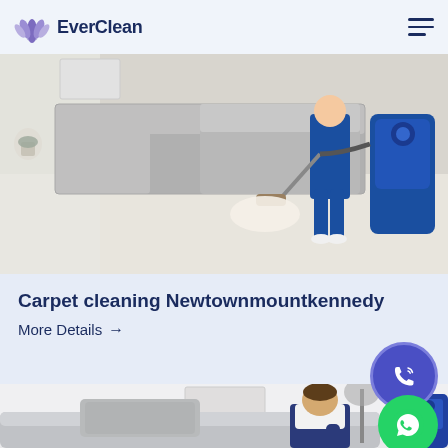EverClean
[Figure (photo): A professional cleaner in blue uniform using a carpet cleaning machine on a light carpet in a living room with grey sofas]
Carpet cleaning Newtownmountkennedy
More Details →
[Figure (photo): A male technician in work overalls cleaning/inspecting a grey sofa cushion, with a grey floor lamp and blue cleaning equipment in the background]